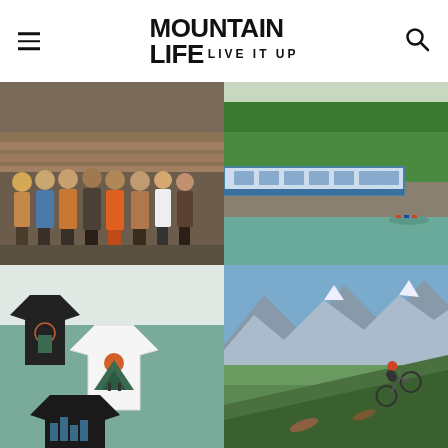MOUNTAIN LIFE — LIVE IT UP
[Figure (photo): Group of people posing outdoors in front of wooden logs, wearing casual and outdoor clothing in various colors including orange, blue, and plaid patterns]
[Figure (photo): Aerial view of a passenger train alongside a river with canoes/kayaks, surrounded by lush green forest]
[Figure (photo): Mountain Life branded t-shirts displayed on teal/muted green background — black and white shirts with mountain/tree graphic designs]
[Figure (photo): Mountain biker descending a steep grassy hillside with a dramatic mountain valley vista in the background under blue skies]